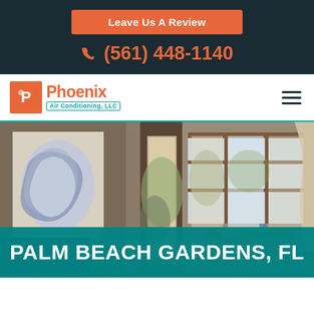Leave Us A Review
(561) 448-1140
[Figure (logo): Phoenix Air Conditioning, LLC logo with orange P icon and teal text]
[Figure (photo): Interior room photo showing wall art, open door, large windows with curtains and sunlight]
PALM BEACH GARDENS, FL